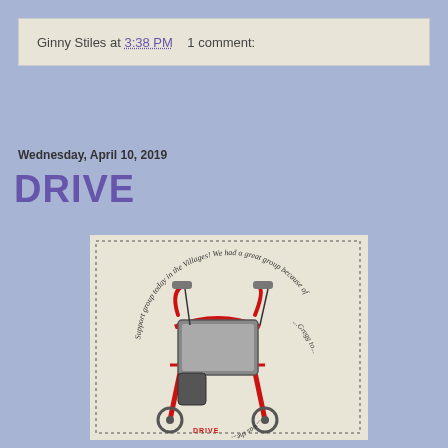Ginny Stiles at 3:38 PM    1 comment:
Wednesday, April 10, 2019
DRIVE
[Figure (illustration): Hand-drawn illustration of a red mobility walker/rollator with text written in a circular pattern around it reading 'Support group today in the Villages! We had a great group because of... Gregg to... DRIVE... was the...']